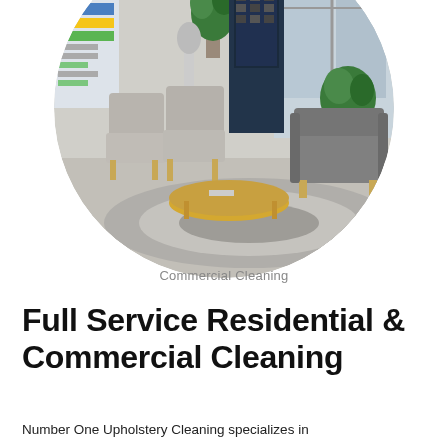[Figure (photo): Circular cropped photo of a commercial waiting room/lobby with grey chairs, a wooden coffee table, plants, a vending machine, and large windows.]
Commercial Cleaning
Full Service Residential & Commercial Cleaning
Number One Upholstery Cleaning specializes in